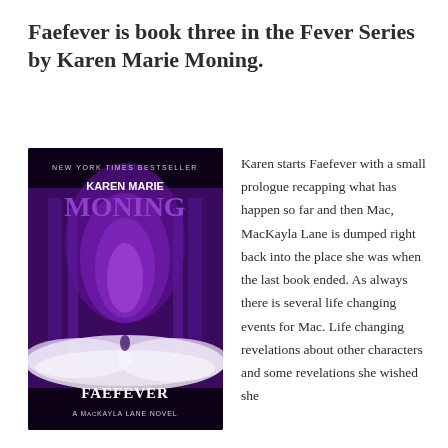Faefever is book three in the Fever Series by Karen Marie Moning.
[Figure (photo): Book cover of Faefever by Karen Marie Moning. Dark purple/black cover with gothic architecture and swirling mist. Text reads: NEW YORK TIMES BESTSELLER, KAREN MARIE MONING, FAEFEVER, A MacKayla Lane Novel.]
Karen starts Faefever with a small prologue recapping what has happen so far and then Mac, MacKayla Lane is dumped right back into the place she was when the last book ended. As always there is several life changing events for Mac. Life changing revelations about other characters and some revelations she wished she